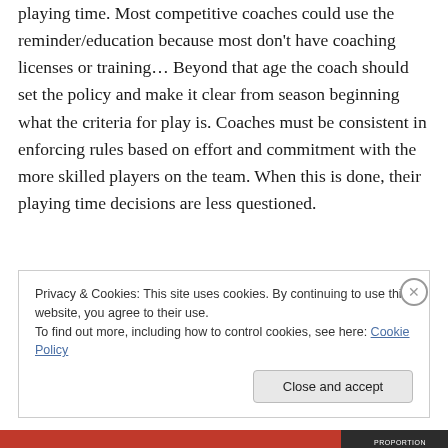playing time. Most competitive coaches could use the reminder/education because most don't have coaching licenses or training… Beyond that age the coach should set the policy and make it clear from season beginning what the criteria for play is. Coaches must be consistent in enforcing rules based on effort and commitment with the more skilled players on the team. When this is done, their playing time decisions are less questioned.
Privacy & Cookies: This site uses cookies. By continuing to use this website, you agree to their use.
To find out more, including how to control cookies, see here: Cookie Policy